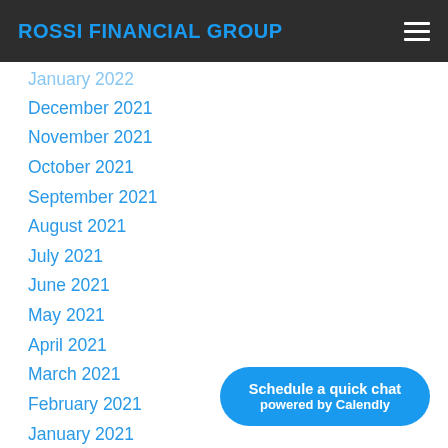ROSSI FINANCIAL GROUP
December 2021
November 2021
October 2021
September 2021
August 2021
July 2021
June 2021
May 2021
April 2021
March 2021
February 2021
January 2021
December 2020
November 2020
October 2020
September 2020
August 2020
[Figure (other): Schedule a quick chat button powered by Calendly]